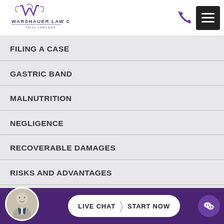[Figure (logo): Warshauer Law Group logo with decorative W monogram and text 'WARSHAUER LAW GROUP - TRIAL LAWYERS']
FILING A CASE
GASTRIC BAND
MALNUTRITION
NEGLIGENCE
RECOVERABLE DAMAGES
RISKS AND ADVANTAGES
LIVE CHAT | START NOW